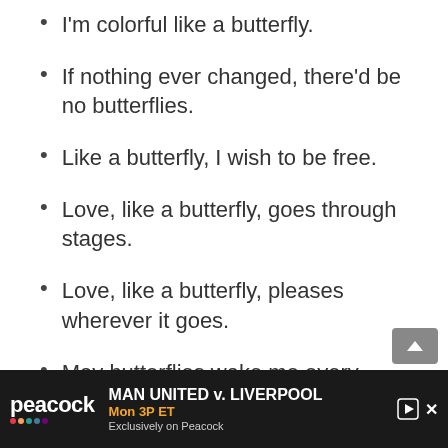I'm colorful like a butterfly.
If nothing ever changed, there'd be no butterflies.
Like a butterfly, I wish to be free.
Love, like a butterfly, goes through stages.
Love, like a butterfly, pleases wherever it goes.
May butterflies wake me every morning.
[Figure (screenshot): Advertisement banner for Peacock streaming service showing MAN UNITED v. LIVERPOOL, Mon 3P ET, Exclusively on Peacock]